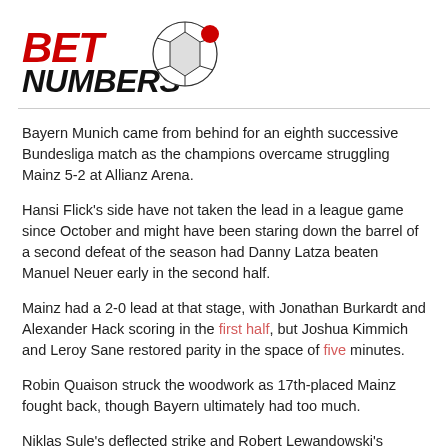[Figure (logo): BetNumbers logo with red bold text 'BET' and black bold text 'NUMBERS' with a soccer ball graphic]
Bayern Munich came from behind for an eighth successive Bundesliga match as the champions overcame struggling Mainz 5-2 at Allianz Arena.
Hansi Flick's side have not taken the lead in a league game since October and might have been staring down the barrel of a second defeat of the season had Danny Latza beaten Manuel Neuer early in the second half.
Mainz had a 2-0 lead at that stage, with Jonathan Burkardt and Alexander Hack scoring in the first half, but Joshua Kimmich and Leroy Sane restored parity in the space of five minutes.
Robin Quaison struck the woodwork as 17th-placed Mainz fought back, though Bayern ultimately had too much.
Niklas Sule's deflected strike and Robert Lewandowski's double